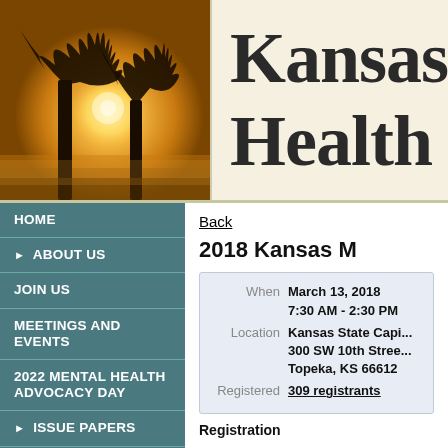[Figure (photo): Silhouette of bare trees against a golden sunset/sunrise sky with warm orange and yellow tones, misty atmosphere]
Kansas Health
HOME
▶ ABOUT US
JOIN US
MEETINGS AND EVENTS
2022 MENTAL HEALTH ADVOCACY DAY
▶ ISSUE PAPERS
▶ PUBLIC TESTIMONY
▶ MENTAL HEALTH
Back
2018 Kansas M
| Field | Value |
| --- | --- |
| When | March 13, 2018
7:30 AM - 2:30 PM |
| Location | Kansas State Capi...
300 SW 10th Stree...
Topeka, KS 66612 |
| Registered | 309 registrants |
Registration